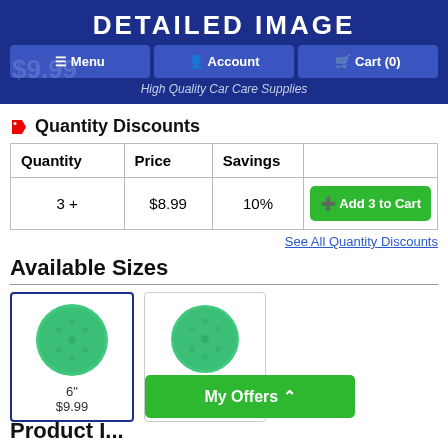DETAILED IMAGE
[Figure (screenshot): Website navigation bar with Menu, Account, and Cart (0) buttons on blue background with tagline 'High Quality Car Care Supplies']
Quantity Discounts
| Quantity | Price | Savings |  |
| --- | --- | --- | --- |
| 3 + | $8.99 | 10% | Add 3 to Cart |
See All Quantity Discounts
Available Sizes
[Figure (photo): Two green foam polishing pad size options: 6" at $9.99 (selected, blue border) and 7" at $10.99]
My Offers
Product I...